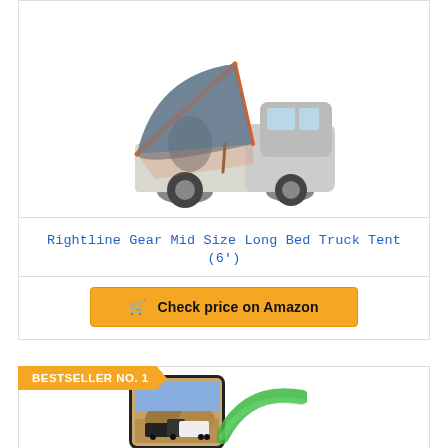[Figure (photo): Truck tent product photo: a gray and orange truck tent set up in the bed of a white GMC pickup truck, shown at an angle on a white background.]
Rightline Gear Mid Size Long Bed Truck Tent (6')
Check price on Amazon
BESTSELLER NO. 1
[Figure (screenshot): Product image showing a smartphone displaying a truck pulling a camper trailer, with a green curved line graphic beside it, on a white background. Partial view — image is cropped at bottom.]